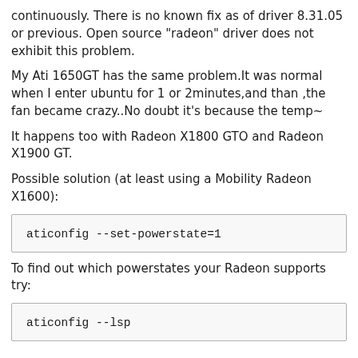continuously. There is no known fix as of driver 8.31.05 or previous. Open source "radeon" driver does not exhibit this problem.
My Ati 1650GT has the same problem.It was normal when I enter ubuntu for 1 or 2minutes,and than ,the fan became crazy..No doubt it's because the temp~
It happens too with Radeon X1800 GTO and Radeon X1900 GT.
Possible solution (at least using a Mobility Radeon X1600):
aticonfig --set-powerstate=1
To find out which powerstates your Radeon supports try:
aticonfig --lsp